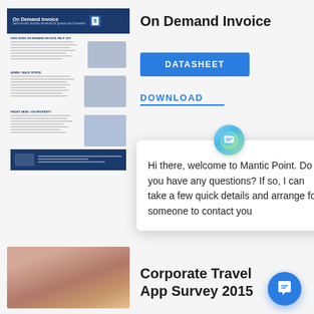[Figure (screenshot): Thumbnail screenshot of On Demand Invoice datasheet document with dark blue header and multiple sections showing mobile and desktop screenshots]
On Demand Invoice
DATASHEET
DOWNLOAD
Hi there, welcome to Mantic Point. Do you have any questions? If so, I can take a few quick details and arrange for someone to contact you
[Figure (photo): Close-up photo of a smiling person, partial face visible]
Corporate Travel App Survey 2015